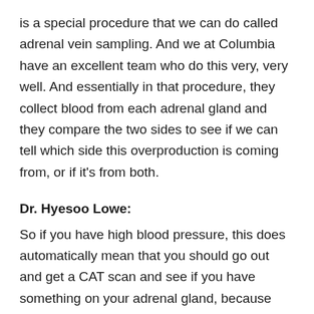is a special procedure that we can do called adrenal vein sampling. And we at Columbia have an excellent team who do this very, very well. And essentially in that procedure, they collect blood from each adrenal gland and they compare the two sides to see if we can tell which side this overproduction is coming from, or if it's from both.
Dr. Hyesoo Lowe:
So if you have high blood pressure, this does automatically mean that you should go out and get a CAT scan and see if you have something on your adrenal gland, because you may find something that has nothing to do with your high blood pressure.
What you should first do is get properly screened with the correct type of lab testing. And if that indicates something more